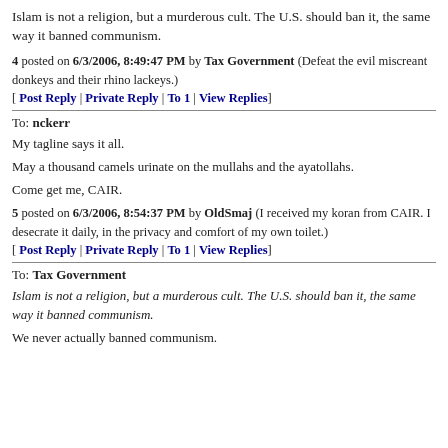Islam is not a religion, but a murderous cult. The U.S. should ban it, the same way it banned communism.
4 posted on 6/3/2006, 8:49:47 PM by Tax Government (Defeat the evil miscreant donkeys and their rhino lackeys.)
[ Post Reply | Private Reply | To 1 | View Replies]
To: nckerr
My tagline says it all.
May a thousand camels urinate on the mullahs and the ayatollahs.
Come get me, CAIR.
5 posted on 6/3/2006, 8:54:37 PM by OldSmaj (I received my koran from CAIR. I desecrate it daily, in the privacy and comfort of my own toilet.)
[ Post Reply | Private Reply | To 1 | View Replies]
To: Tax Government
Islam is not a religion, but a murderous cult. The U.S. should ban it, the same way it banned communism.
We never actually banned communism.